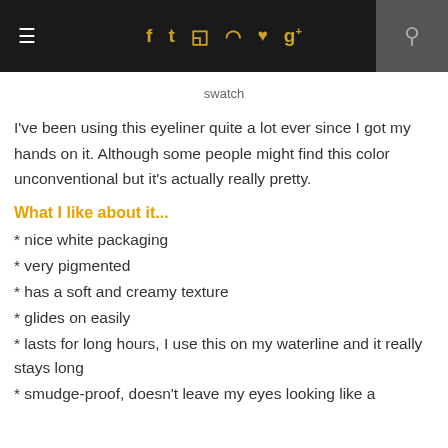≡  f  t  ◻  ⊕  ♥  g+  🔍
swatch
I've been using this eyeliner quite a lot ever since I got my hands on it. Although some people might find this color unconventional but it's actually really pretty.
What I like about it...
* nice white packaging
* very pigmented
* has a soft and creamy texture
* glides on easily
* lasts for long hours, I use this on my waterline and it really stays long
* smudge-proof, doesn't leave my eyes looking like a